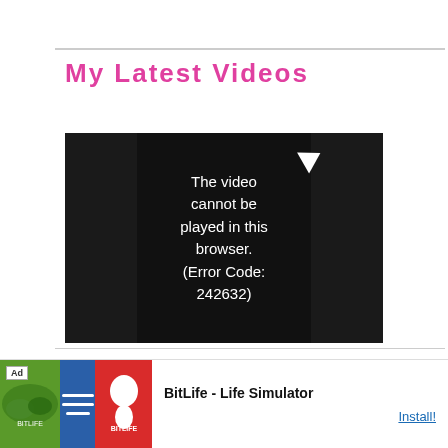My Latest Videos
[Figure (screenshot): Video player showing error message: 'The video cannot be played in this browser. (Error Code: 242632)']
Because of this need, 5w4s might isolate themselves from their family and loved ones. When they start a new project, they want to know everything they can find on that topic.
[Figure (photo): Advertisement banner for BitLife - Life Simulator app with green nature imagery and red BitLife logo]